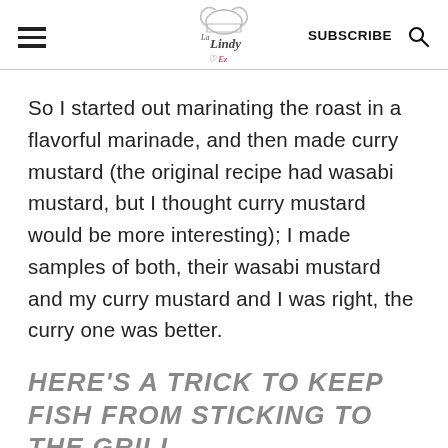La Lindy — SUBSCRIBE
So I started out marinating the roast in a flavorful marinade, and then made curry mustard (the original recipe had wasabi mustard, but I thought curry mustard would be more interesting); I made samples of both, their wasabi mustard and my curry mustard and I was right, the curry one was better.
HERE'S A TRICK TO KEEP FISH FROM STICKING TO THE GRILL